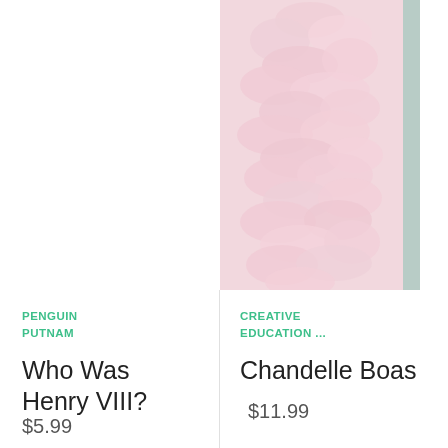[Figure (photo): Pink feather boa product photo, partially cropped at top-right of page]
PENGUIN PUTNAM
Who Was Henry VIII?
$5.99
CREATIVE EDUCATION ...
Chandelle Boas
$11.99